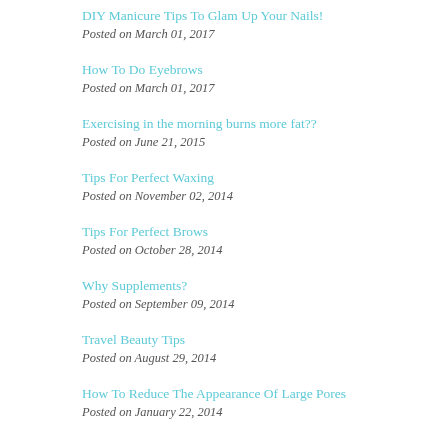DIY Manicure Tips To Glam Up Your Nails!
Posted on March 01, 2017
How To Do Eyebrows
Posted on March 01, 2017
Exercising in the morning burns more fat??
Posted on June 21, 2015
Tips For Perfect Waxing
Posted on November 02, 2014
Tips For Perfect Brows
Posted on October 28, 2014
Why Supplements?
Posted on September 09, 2014
Travel Beauty Tips
Posted on August 29, 2014
How To Reduce The Appearance Of Large Pores
Posted on January 22, 2014